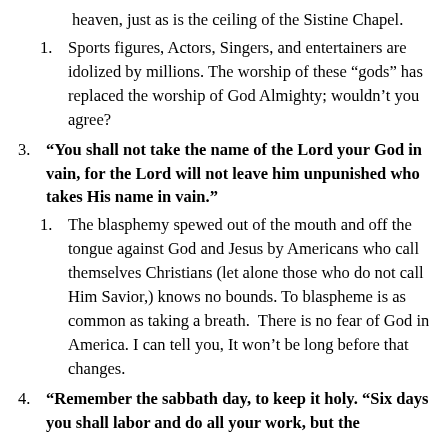heaven, just as is the ceiling of the Sistine Chapel.
Sports figures, Actors, Singers, and entertainers are idolized by millions. The worship of these “gods” has replaced the worship of God Almighty; wouldn’t you agree?
“You shall not take the name of the Lord your God in vain, for the Lord will not leave him unpunished who takes His name in vain.”
The blasphemy spewed out of the mouth and off the tongue against God and Jesus by Americans who call themselves Christians (let alone those who do not call Him Savior,) knows no bounds. To blaspheme is as common as taking a breath. There is no fear of God in America. I can tell you, It won’t be long before that changes.
“Remember the sabbath day, to keep it holy. “Six days you shall labor and do all your work, but the